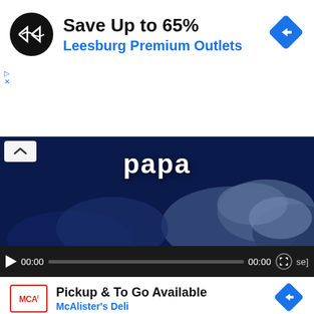[Figure (screenshot): Top advertisement banner: black circular logo with double arrow icon, headline 'Save Up to 65%', subline 'Leesburg Premium Outlets', blue diamond navigation arrow icon on right, small play and X controls on left edge]
[Figure (screenshot): Video player showing dark blue sky with clouds and white text 'papa', chevron up button top-left, video controls bar at bottom with play button, 00:00 timestamps, progress bar, fullscreen button, and partial 'se]' text]
[Figure (screenshot): Bottom advertisement banner: McAlister's Deli logo in red border box, headline 'Pickup & To Go Available', subline 'McAlister's Deli', blue diamond navigation arrow on right, small play and X controls on left edge]